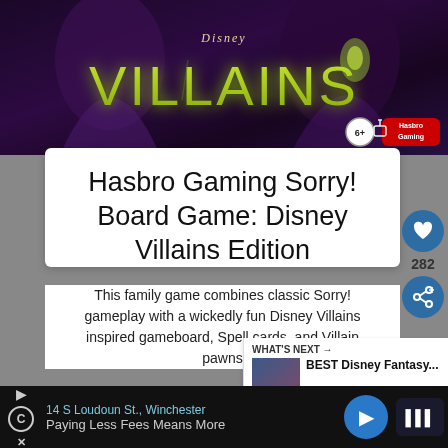[Figure (photo): Disney Villains board game box art showing villains on dark purple/black background with 'VILLAINS' text in green, Hasbro Gaming logo, age 6+ badge]
Hasbro Gaming Sorry! Board Game: Disney Villains Edition
This family game combines classic Sorry! gameplay with a wickedly fun Disney Villains inspired gameboard, Spell cards, and Villain pawns
See Price
282
WHAT'S NEXT → BEST Disney Fantasy...
14 S Loudoun St., Winchester  Paying Less Fees Means More